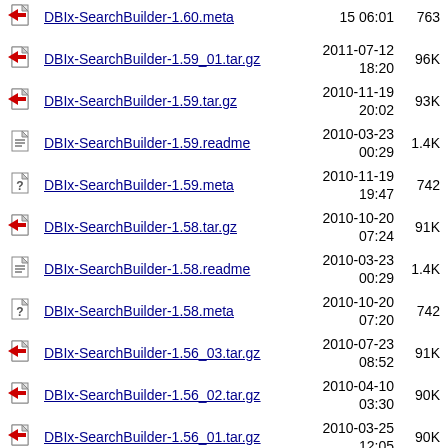DBIx-SearchBuilder-1.60.meta 15 06:01 763
DBIx-SearchBuilder-1.59_01.tar.gz 2011-07-12 18:20 96K
DBIx-SearchBuilder-1.59.tar.gz 2010-11-19 20:02 93K
DBIx-SearchBuilder-1.59.readme 2010-03-23 00:29 1.4K
DBIx-SearchBuilder-1.59.meta 2010-11-19 19:47 742
DBIx-SearchBuilder-1.58.tar.gz 2010-10-20 07:24 91K
DBIx-SearchBuilder-1.58.readme 2010-03-23 00:29 1.4K
DBIx-SearchBuilder-1.58.meta 2010-10-20 07:20 742
DBIx-SearchBuilder-1.56_03.tar.gz 2010-07-23 08:52 91K
DBIx-SearchBuilder-1.56_02.tar.gz 2010-04-10 03:30 90K
DBIx-SearchBuilder-1.56_01.tar.gz 2010-03-25 12:05 90K
DBIx-SearchBuilder-1.56.tar.gz 2009-07-17 07:24 86K